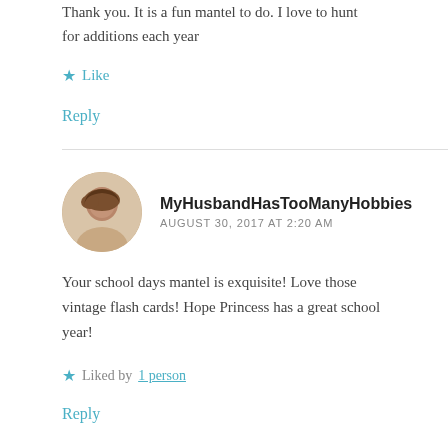Thank you. It is a fun mantel to do. I love to hunt for additions each year
Like
Reply
MyHusbandHasTooManyHobbies
AUGUST 30, 2017 AT 2:20 AM
Your school days mantel is exquisite! Love those vintage flash cards! Hope Princess has a great school year!
Liked by 1 person
Reply